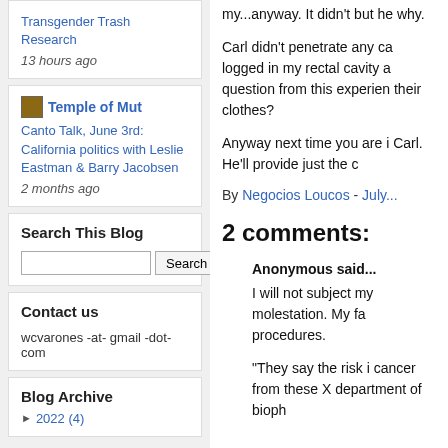Transgender Trash Research
13 hours ago
Temple of Mut
Canto Talk, June 3rd: California politics with Leslie Eastman & Barry Jacobsen
2 months ago
Search This Blog
Contact us
wcvarones -at- gmail -dot- com
Blog Archive
► 2022 (4)
my...anyway. It didn't but he why.
Carl didn't penetrate any ca logged in my rectal cavity a question from this experien their clothes?
Anyway next time you are i Carl. He'll provide just the c
By Negocios Loucos - July...
2 comments:
Anonymous said...
I will not subject my molestation. My fa procedures.
"They say the risk i cancer from these X department of bioph